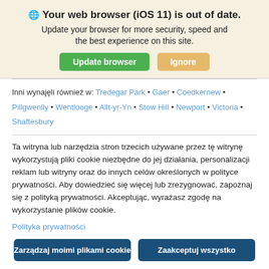Your web browser (iOS 11) is out of date.
Update your browser for more security, speed and the best experience on this site.
Inni wynajęli również w: Tredegar Park • Gaer • Coedkernew • Pillgwenlly • Wentlooge • Allt-yr-Yn • Stow Hill • Newport • Victoria • Shaftesbury
Ta witryna lub narzędzia stron trzecich używane przez tę witrynę wykorzystują pliki cookie niezbędne do jej działania, personalizacji reklam lub witryny oraz do innych celów określonych w polityce prywatności. Aby dowiedzieć się więcej lub zrezygnować, zapoznaj się z polityką prywatności. Akceptując, wyrażasz zgodę na wykorzystanie plików cookie.
Polityka prywatności